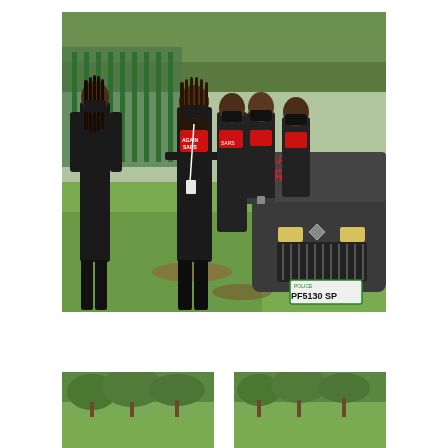[Figure (photo): Five women wearing black clothing, black masks with red text (reading 'Again SARS'), standing outdoors on grass near a green metal fence and trees. A dark-colored Dodge car is visible on the right side with red paint/text on its hood reading 'Again SARS'. A green Nigerian police license plate reads 'PF 5130 SP'. The scene appears to be a protest.]
[Figure (photo): Partial bottom-left photo showing trees and outdoor scenery, continuation of protest scene.]
[Figure (photo): Partial bottom-right photo showing trees and outdoor scenery, continuation of protest scene.]